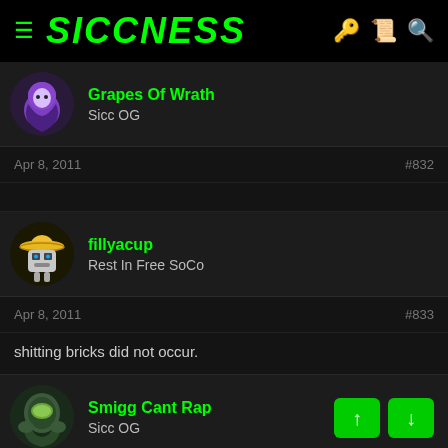SICCNESS
Grapes Of Wrath
Sicc OG
Apr 8, 2011   #832
fillyacup
Rest In Free SoCo
Apr 8, 2011   #833
shitting bricks did not occur.
Smigg Cant Rap
Sicc OG
Apr 8, 2011   #834